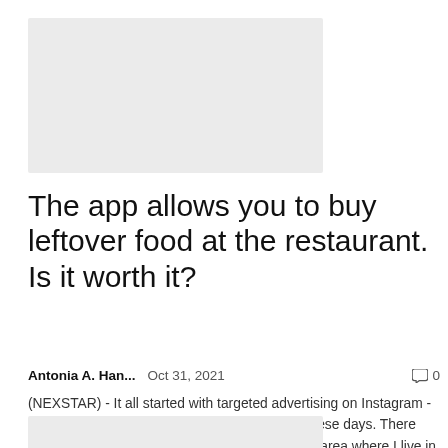[Figure (photo): Gray placeholder image at top of article]
The app allows you to buy leftover food at the restaurant. Is it worth it?
Antonia A. Han...   Oct 31, 2021   💬 0
(NEXSTAR) - It all started with targeted advertising on Instagram - as do a lot of my online shopping adventures these days. There was a new app that extended the service to the area where I live in Los Angeles that would allow me...
[Figure (photo): Gray placeholder image at bottom of page]